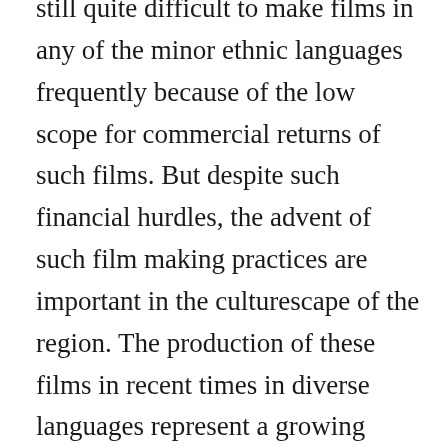still quite difficult to make films in any of the minor ethnic languages frequently because of the low scope for commercial returns of such films. But despite such financial hurdles, the advent of such film making practices are important in the culturescape of the region. The production of these films in recent times in diverse languages represent a growing awareness of diversity in spoken languages and ethnicity of the region among film viewers, both nationally and internationally. Films have been made in ethnic languages such as Bodo, Karbi, Mising, Rabha, Moran and Tiwa over the last few years.